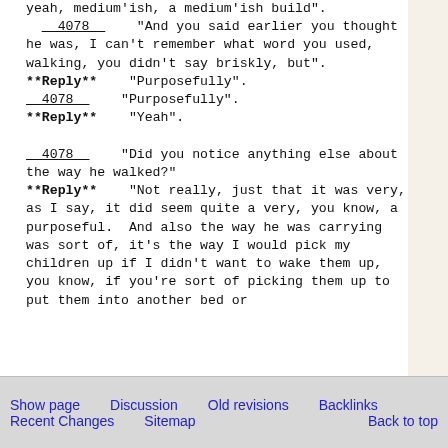yeah, medium'ish, a medium'ish build".
  __4078__    "And you said earlier you thought he was, I can't remember what word you used, walking, you didn't say briskly, but".
**Reply**    "Purposefully".
__4078__    "Purposefully".
**Reply**    "Yeah".

__4078__    "Did you notice anything else about the way he walked?"
**Reply**    "Not really, just that it was very, as I say, it did seem quite a very, you know, a purposeful.  And also the way he was carrying was sort of, it's the way I would pick my children up if I didn't want to wake them up, you know, if you're sort of picking them up to put them into another bed or
Show page   Discussion   Old revisions   Backlinks
Recent Changes   Sitemap   Back to top